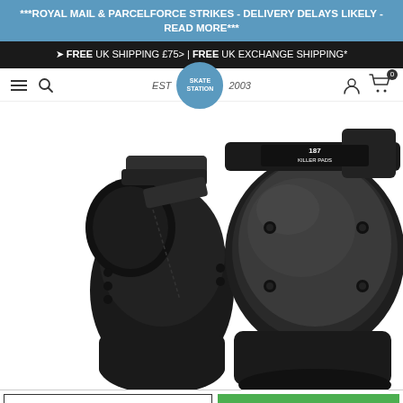***ROYAL MAIL & PARCELFORCE STRIKES - DELIVERY DELAYS LIKELY - READ MORE***
✈ FREE UK SHIPPING £75> | FREE UK EXCHANGE SHIPPING*
[Figure (logo): Skate Station logo: EST SKATE STATION 2003 in a blue circle]
[Figure (photo): Two black 187 Killer Pads knee pads shown from different angles on white background]
Extra Small - $53.04
ADD TO BASKET